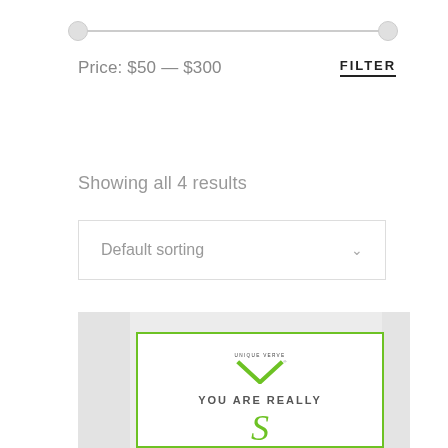[Figure (other): Price range slider with two circular handles on a horizontal track]
Price: $50 — $300
FILTER
Showing all 4 results
Default sorting
[Figure (photo): Product card with green border, Unique Verve V logo, text YOU ARE REALLY and cursive script below, on a light marble background]